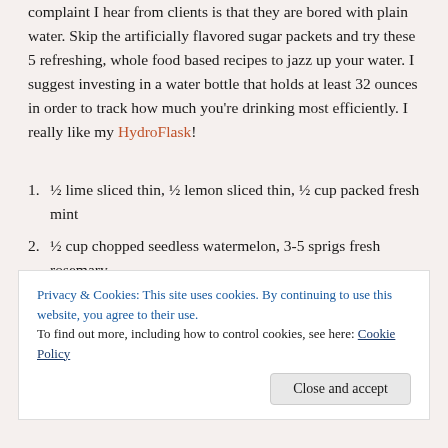complaint I hear from clients is that they are bored with plain water. Skip the artificially flavored sugar packets and try these 5 refreshing, whole food based recipes to jazz up your water. I suggest investing in a water bottle that holds at least 32 ounces in order to track how much you're drinking most efficiently. I really like my HydroFlask!
½ lime sliced thin, ½ lemon sliced thin, ½ cup packed fresh mint
½ cup chopped seedless watermelon, 3-5 sprigs fresh rosemary
½ cup chopped pineapple, ½ cup packed fresh mint
½ cup raspberries (fresh or frozen), 3-5 sprigs fresh
Privacy & Cookies: This site uses cookies. By continuing to use this website, you agree to their use. To find out more, including how to control cookies, see here: Cookie Policy